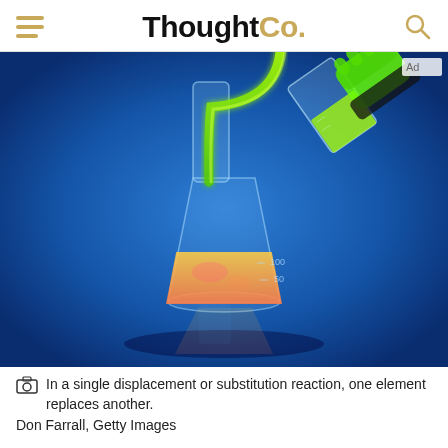ThoughtCo.
[Figure (photo): A glowing green liquid being poured from a beaker into an Erlenmeyer flask containing an orange-pink solution, set against a bright blue background. A gloved hand holds the beaker. The flask shows measurement markings at 100 and 50 mL levels.]
In a single displacement or substitution reaction, one element replaces another. Don Farrall, Getty Images